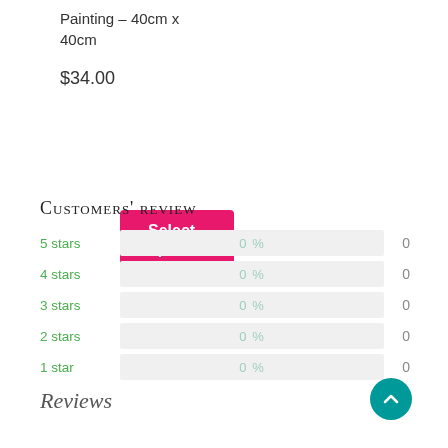Painting – 40cm x 40cm
$34.00
Select options
Customers' review
| Stars | Percentage | Count |
| --- | --- | --- |
| 5 stars | 0 % | 0 |
| 4 stars | 0 % | 0 |
| 3 stars | 0 % | 0 |
| 2 stars | 0 % | 0 |
| 1 star | 0 % | 0 |
Reviews